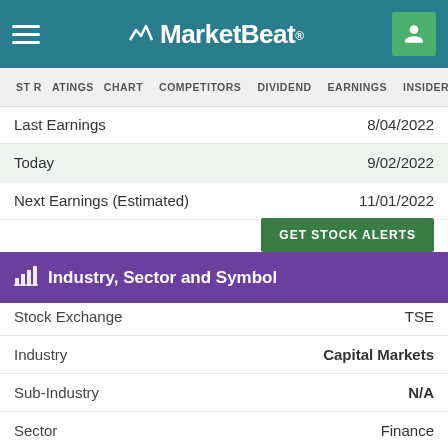MarketBeat
ST RATINGS  CHART  COMPETITORS  DIVIDEND  EARNINGS  INSIDER  TRADES
|  |  |
| --- | --- |
| Last Earnings | 8/04/2022 |
| Today | 9/02/2022 |
| Next Earnings (Estimated) | 11/01/2022 |
GET STOCK ALERTS
Industry, Sector and Symbol
|  |  |
| --- | --- |
| Stock Exchange | TSE |
| Industry | Capital Markets |
| Sub-Industry | N/A |
| Sector | Finance |
| Current Symbol | TSE:TRI |
| Previous Symbol | TSE:TOC |
| CUSIP | N/A |
| SIK | N/A |